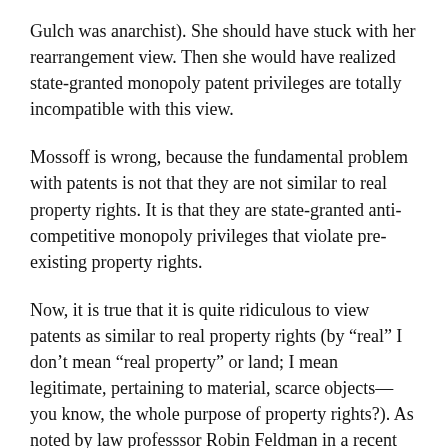Gulch was anarchist). She should have stuck with her rearrangement view. Then she would have realized state-granted monopoly patent privileges are totally incompatible with this view.
Mossoff is wrong, because the fundamental problem with patents is not that they are not similar to real property rights. It is that they are state-granted anti-competitive monopoly privileges that violate pre-existing property rights.
Now, it is true that it is quite ridiculous to view patents as similar to real property rights (by “real” I don’t mean “real property” or land; I mean legitimate, pertaining to material, scarce objects—you know, the whole purpose of property rights?). As noted by law professsor Robin Feldman in a recent book, Rethinking Patent Law, it makes no sense to view patents are defining “property rights” (see Feldman: Patents don’t define